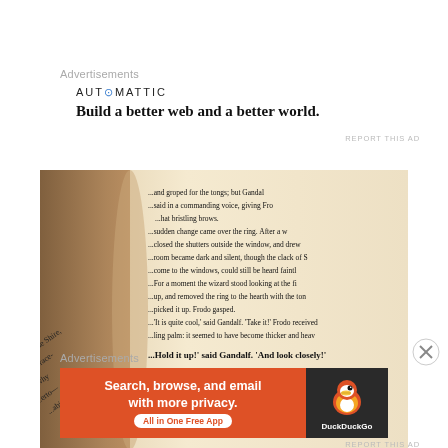Advertisements
AUTOMATTIC
Build a better web and a better world.
REPORT THIS AD
[Figure (photo): Open book showing pages from The Lord of the Rings, text visible about the One Ring and Gandalf and Frodo]
Advertisements
[Figure (infographic): DuckDuckGo advertisement banner: orange left panel reading 'Search, browse, and email with more privacy. All in One Free App' with pill button; dark right panel with DuckDuckGo logo duck icon and DuckDuckGo text]
REPORT THIS AD